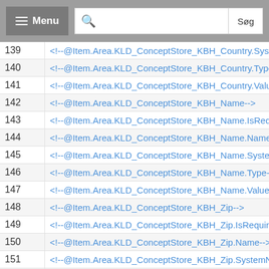Menu | Search | Søg
| # | Code |
| --- | --- |
| 139 | <!--@Item.Area.KLD_ConceptStore_KBH_Country.Syste... |
| 140 | <!--@Item.Area.KLD_ConceptStore_KBH_Country.Type... |
| 141 | <!--@Item.Area.KLD_ConceptStore_KBH_Country.Valu... |
| 142 | <!--@Item.Area.KLD_ConceptStore_KBH_Name--> |
| 143 | <!--@Item.Area.KLD_ConceptStore_KBH_Name.IsRequ... |
| 144 | <!--@Item.Area.KLD_ConceptStore_KBH_Name.Name-... |
| 145 | <!--@Item.Area.KLD_ConceptStore_KBH_Name.System... |
| 146 | <!--@Item.Area.KLD_ConceptStore_KBH_Name.Type--... |
| 147 | <!--@Item.Area.KLD_ConceptStore_KBH_Name.Value--... |
| 148 | <!--@Item.Area.KLD_ConceptStore_KBH_Zip--> |
| 149 | <!--@Item.Area.KLD_ConceptStore_KBH_Zip.IsRequire... |
| 150 | <!--@Item.Area.KLD_ConceptStore_KBH_Zip.Name--> |
| 151 | <!--@Item.Area.KLD_ConceptStore_KBH_Zip.SystemNa... |
| 152 | <!--@Item.Area.KLD_ConceptStore_KBH_Zip.Type--> |
| 153 | <!--@Item.Area.KLD_ConceptStore_KBH_Zip.Value--> |
| 154 | <!--@Item.Area.KLD_OutletStore_Ringsted_Addres... |